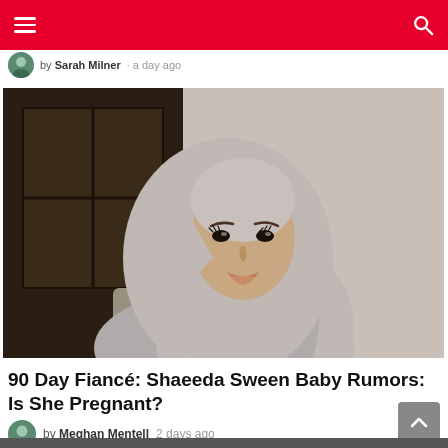Navigation bar with menu and search
by Sarah Milner · a day ago
[Figure (photo): Portrait of Shaeeda Sween, a woman wearing a gray hijab, looking slightly downward, with a dark background on the left and a light gray wall on the right.]
90 Day Fiancé: Shaeeda Sween Baby Rumors: Is She Pregnant?
by Meghan Mentell  2 days ago